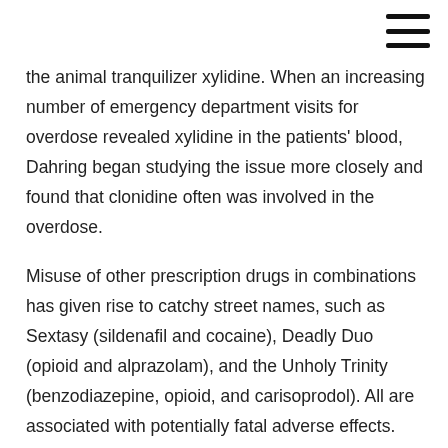the animal tranquilizer xylidine. When an increasing number of emergency department visits for overdose revealed xylidine in the patients' blood, Dahring began studying the issue more closely and found that clonidine often was involved in the overdose.
Misuse of other prescription drugs in combinations has given rise to catchy street names, such as Sextasy (sildenafil and cocaine), Deadly Duo (opioid and alprazolam), and the Unholy Trinity (benzodiazepine, opioid, and carisoprodol). All are associated with potentially fatal adverse effects.
Certain patient populations have been linked to abuse and misuse of noncontrolled medications, said Dahring, including patients with a history of mood disorders and substance use disorders, adolescents and young adults, and people living in